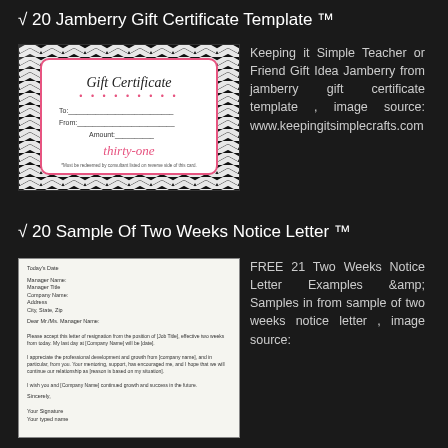√ 20 Jamberry Gift Certificate Template ™
[Figure (illustration): Jamberry gift certificate template preview showing a white card with pink border and 'Gift Certificate' script text on a black chevron pattern background, with To/From/Amount fields and Thirty-One brand]
Keeping it Simple Teacher or Friend Gift Idea Jamberry from jamberry gift certificate template , image source: www.keepingitsimplecrafts.com
√ 20 Sample Of Two Weeks Notice Letter ™
[Figure (screenshot): Two weeks notice letter template preview showing a formal resignation letter with fields for manager name, company, address, date, and body paragraphs on white background]
FREE 21 Two Weeks Notice Letter Examples &amp; Samples in from sample of two weeks notice letter , image source: